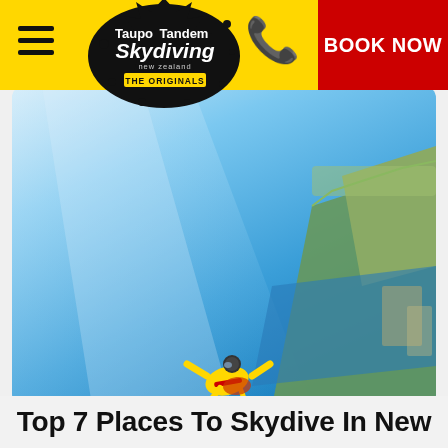Taupo Tandem Skydiving — THE ORIGINALS | Navigation: Hamburger menu, Phone, BOOK NOW
[Figure (logo): Taupo Tandem Skydiving New Zealand - THE ORIGINALS logo on a black ink splash background]
[Figure (photo): Tandem skydivers in freefall wearing yellow and red suits, with a coastal landscape and blue ocean visible far below]
Top 7 Places To Skydive In New